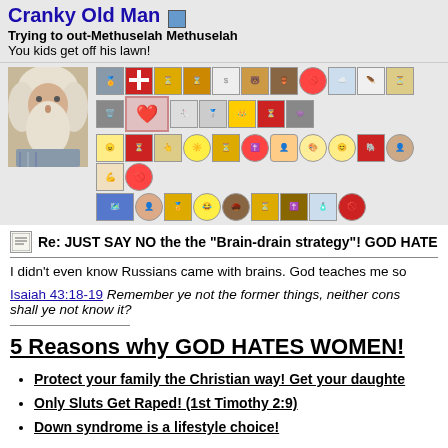Cranky Old Man
Trying to out-Methuselah Methuselah
You kids get off his lawn!
[Figure (photo): Profile photo of an old man with long white beard and white hair]
[Figure (infographic): Rows of small badge/emoticon icons representing awards and achievements]
Re: JUST SAY NO the the "Brain-drain strategy"! GOD HATES Russian c
I didn't even know Russians came with brains. God teaches me so
Isaiah 43:18-19 Remember ye not the former things, neither cons... shall ye not know it?
5 Reasons why GOD HATES WOMEN!
Protect your family the Christian way! Get your daughte
Only Sluts Get Raped! (1st Timothy 2:9)
Down syndrome is a lifestyle choice!
To most "Christians" The Bible is like a license agreement. They just scroll to the bottom and clic